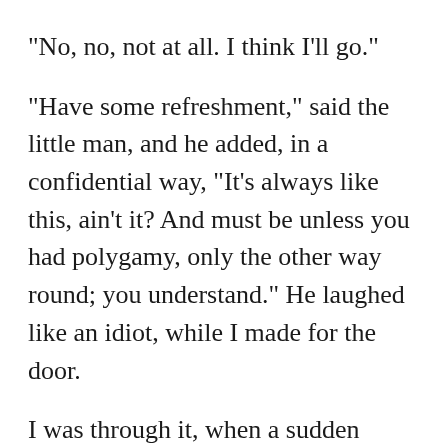"No, no, not at all. I think I'll go."
"Have some refreshment," said the little man, and he added, in a confidential way, "It's always like this, ain't it? And must be unless you had polygamy, only the other way round; you understand." He laughed like an idiot, while I made for the door.
I was through it, when a sudden fantastic impulse came upon me, and I went back to my successful rival, who looked nervously at the electric push.
"Will you answer a question?" I asked.